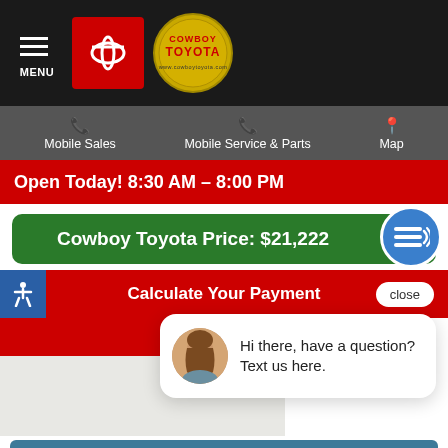MENU | Cowboy Toyota
Mobile Sales | Mobile Service & Parts | Map
Open Today! 8:30 AM – 8:00 PM
Cowboy Toyota Price: $21,222
Calculate Your Payment
Hi there, have a question? Text us here.
Estimate financing
No impact to your credit score